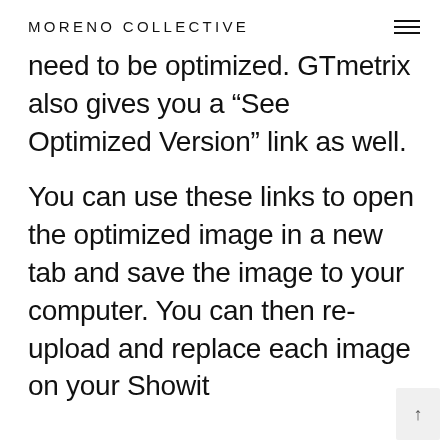MORENO COLLECTIVE
need to be optimized. GTMetrix also gives you a “See Optimized Version” link as well.
You can use these links to open the optimized image in a new tab and save the image to your computer. You can then re-upload and replace each image on your Showit